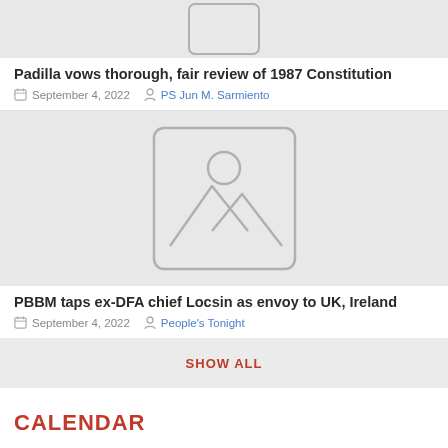[Figure (photo): Placeholder image thumbnail (top, partially visible) with rounded rectangle border]
Padilla vows thorough, fair review of 1987 Constitution
September 4, 2022   PS Jun M. Sarmiento
[Figure (photo): Placeholder image with mountain and sun icon inside a rounded rectangle]
PBBM taps ex-DFA chief Locsin as envoy to UK, Ireland
September 4, 2022   People's Tonight
SHOW ALL
CALENDAR